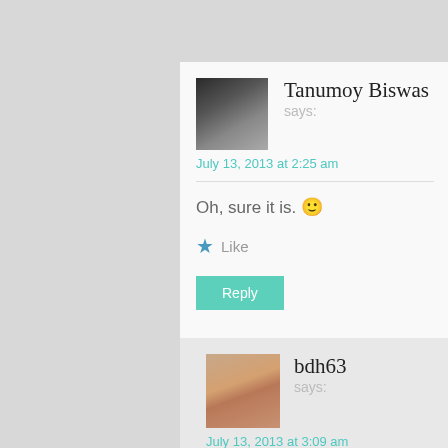Tanumoy Biswas says:
July 13, 2013 at 2:25 am
Oh, sure it is. 🙂
★ Like
Reply
bdh63 says:
July 13, 2013 at 3:09 am